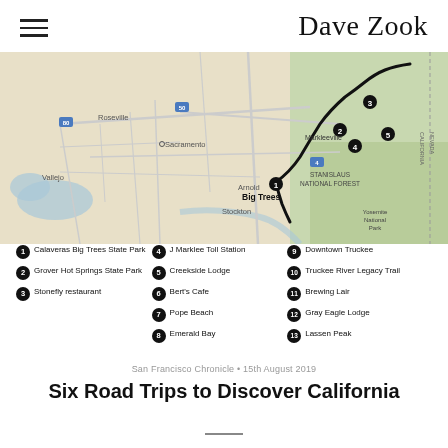Dave Zook
[Figure (map): Road trip route map showing northern California and Nevada border area, with numbered stops along a route from Big Trees (Calaveras) through Markleeville area. Shows Sacramento, Roseville, Vallejo, Stockton, Arnold, Stanislaus National Forest, Yosemite National Park, and Nevada/California border. Numbered markers 1-5 visible on the map near Markleeville.]
1 Calaveras Big Trees State Park
2 Grover Hot Springs State Park
3 Stonefly restaurant
4 J Marklee Toll Station
5 Creekside Lodge
6 Bert's Cafe
7 Pope Beach
8 Emerald Bay
9 Downtown Truckee
10 Truckee River Legacy Trail
11 Brewing Lair
12 Gray Eagle Lodge
13 Lassen Peak
San Francisco Chronicle • 15th August 2019
Six Road Trips to Discover California